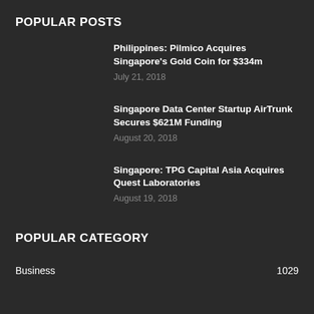POPULAR POSTS
Philippines: Pilmico Acquires Singapore's Gold Coin for $334m
July 21, 2018
Singapore Data Center Startup AirTrunk Secures $621M Funding
August 20, 2018
Singapore: TPG Capital Asia Acquires Quest Laboratories
August 19, 2018
POPULAR CATEGORY
Business	1029